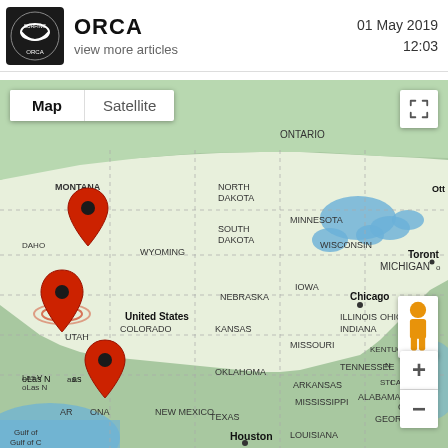ORCA | view more articles | 01 May 2019 12:03
[Figure (map): Google Map showing the United States with three red location pins placed in Montana/Idaho area, Utah/Colorado border area, and Arizona/Las Vegas area. Map view with Map/Satellite toggle. Shows US states, parts of Canada (Ontario), and major cities including Chicago, Houston, Toronto. Zoom and fullscreen controls visible.]